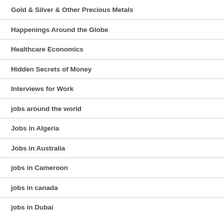Gold & Silver & Other Precious Metals
Happenings Around the Globe
Healthcare Economics
Hidden Secrets of Money
Interviews for Work
jobs around the world
Jobs in Algeria
Jobs in Australia
jobs in Cameroon
jobs in canada
jobs in Dubai